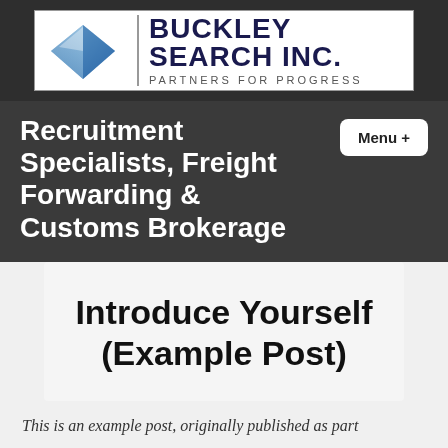[Figure (logo): Buckley Search Inc. logo with blue 3D diamond shape icon and text 'BUCKLEY SEARCH INC. PARTNERS FOR PROGRESS']
Recruitment Specialists, Freight Forwarding & Customs Brokerage
Introduce Yourself (Example Post)
This is an example post, originally published as part